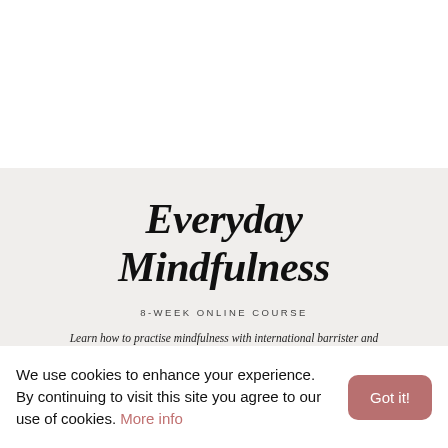Everyday Mindfulness
8-WEEK ONLINE COURSE
Learn how to practise mindfulness with international barrister and mindfulness teacher Gillian Higgins
We use cookies to enhance your experience. By continuing to visit this site you agree to our use of cookies. More info